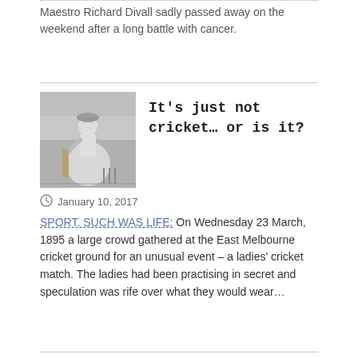Maestro Richard Divall sadly passed away on the weekend after a long battle with cancer.
[Figure (photo): Black and white historical photograph of a woman in Victorian-era dress holding a cricket bat, standing next to cricket stumps]
It's just not cricket… or is it?
January 10, 2017
SPORT. SUCH WAS LIFE:  On Wednesday 23 March, 1895 a large crowd gathered at the East Melbourne cricket ground for an unusual event – a ladies' cricket match. The ladies had been practising in secret and speculation was rife over what they would wear…